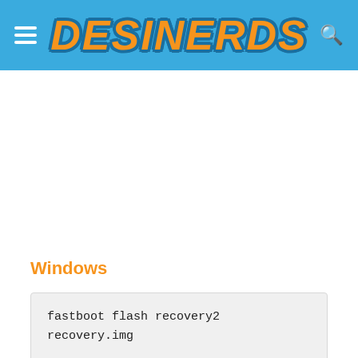DESINERDS
Windows
fastboot flash recovery2
recovery.img